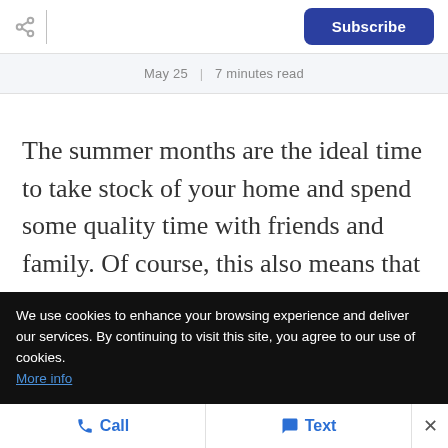Subscribe
May 25  |  7 minutes read
The summer months are the ideal time to take stock of your home and spend some quality time with friends and family. Of course, this also means that now is a
We use cookies to enhance your browsing experience and deliver our services. By continuing to visit this site, you agree to our use of cookies. More info
Call  Text